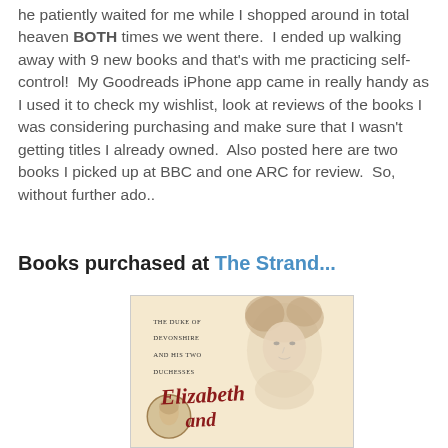he patiently waited for me while I shopped around in total heaven BOTH times we went there. I ended up walking away with 9 new books and that's with me practicing self-control! My Goodreads iPhone app came in really handy as I used it to check my wishlist, look at reviews of the books I was considering purchasing and make sure that I wasn't getting titles I already owned. Also posted here are two books I picked up at BBC and one ARC for review. So, without further ado..
Books purchased at The Strand...
[Figure (illustration): Book cover of 'Elizabeth and...' - The Duke of Devonshire and His Two Duchesses. Shows a Regency-era portrait of a woman with elaborate hair, and a smaller circular inset portrait. Cream/beige background with red cursive title text.]